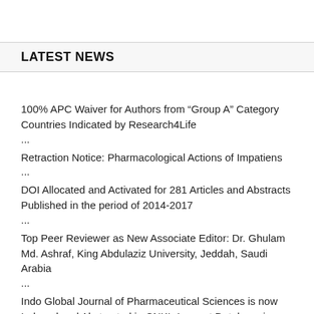LATEST NEWS
100% APC Waiver for Authors from “Group A” Category Countries Indicated by Research4Life
...
Retraction Notice: Pharmacological Actions of Impatiens
...
DOI Allocated and Activated for 281 Articles and Abstracts Published in the period of 2014-2017
...
Top Peer Reviewer as New Associate Editor: Dr. Ghulam Md. Ashraf, King Abdulaziz University, Jeddah, Saudi Arabia
...
Indo Global Journal of Pharmaceutical Sciences is now Indexed and Abstracted in CNKI- Largest Database in China